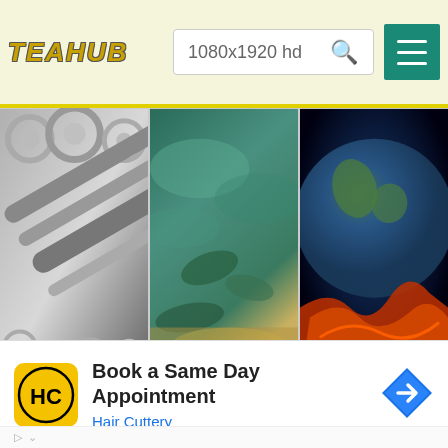TEAHUB — search bar: 1080x1920 hd
[Figure (photo): Three-image thumbnail grid row 1: mechanical gears/pipes (grayscale), green teal abstract sky/leaves, earth with fiery red cracks from space]
[Figure (photo): Three-image thumbnail grid row 2: Juventus FC logo grunge black/white/green/red, Golden State Warriors neon basketball logo on dark blue, dark cyberpunk face/hacker with overlaid code text]
[Figure (other): Advertisement banner: Hair Cuttery logo (HC yellow circle), text 'Book a Same Day Appointment', subtext 'Hair Cuttery', blue navigation arrow icon]